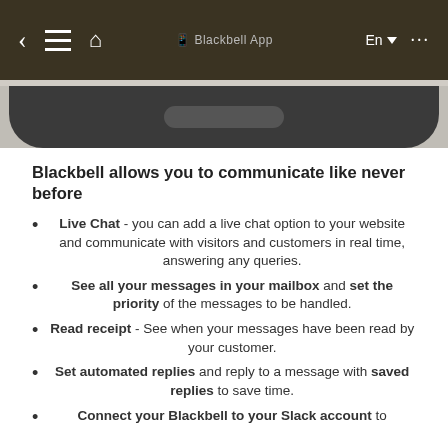[Figure (screenshot): Mobile phone screenshot showing a browser navigation bar with back arrow, menu icon, home icon, language selector (En), and overflow menu dots on a dark brown background, with the bottom of the phone device visible below.]
Blackbell allows you to communicate like never before
Live Chat - you can add a live chat option to your website and communicate with visitors and customers in real time, answering any queries.
See all your messages in your mailbox and set the priority of the messages to be handled.
Read receipt - See when your messages have been read by your customer.
Set automated replies and reply to a message with saved replies to save time.
Connect your Blackbell to your Slack account to